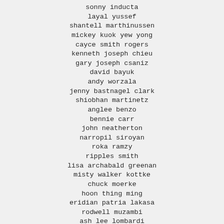sonny inducta
layal yussef
shantell marthinussen
mickey kuok yew yong
cayce smith rogers
kenneth joseph chieu
gary joseph csaniz
david bayuk
andy worzala
jenny bastnagel clark
shiobhan martinetz
anglee benzo
bennie carr
john neatherton
narropil siroyan
roka ramzy
ripples smith
lisa archabald greenan
misty walker kottke
chuck moerke
hoon thing ming
eridian patria lakasa
rodwell muzambi
ash lee lombardi